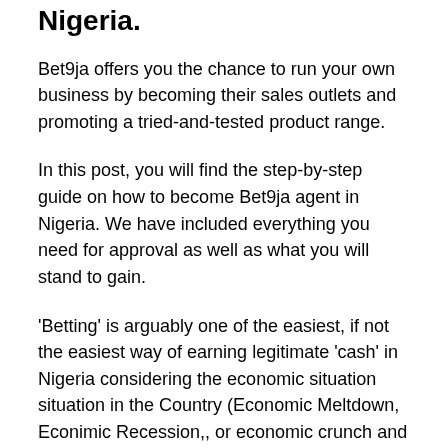Nigeria.
Bet9ja offers you the chance to run your own business by becoming their sales outlets and promoting a tried-and-tested product range.
In this post, you will find the step-by-step guide on how to become Bet9ja agent in Nigeria. We have included everything you need for approval as well as what you will stand to gain.
'Betting' is arguably one of the easiest, if not the easiest way of earning legitimate 'cash' in Nigeria considering the economic situation situation in the Country (Economic Meltdown, Econimic Recession,, or economic crunch and other terms by which it is known).
There is, and has been no study carried out that proves the illegality of Betting. Sport Betting is the commonest form of